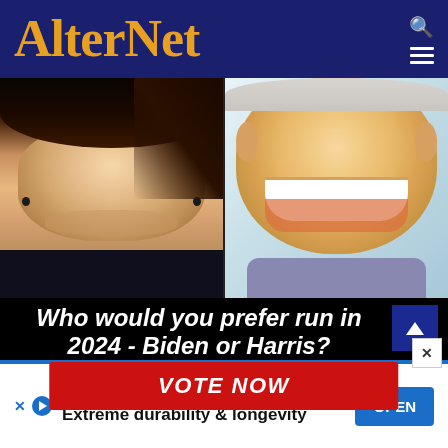AlterNet
[Figure (photo): Split photo of Kamala Harris on the left and Joe Biden on the right, both smiling, cropped to show face and upper body.]
Who would you prefer run in 2024 - Biden or Harris?
VOTE NOW
[Figure (other): Advertisement banner: TRIAX Lubricants - Extreme durability & longevity with OPEN button]